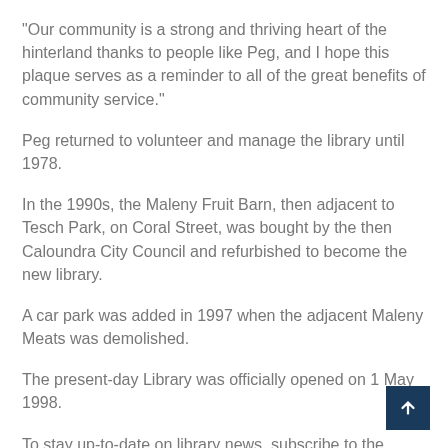“Our community is a strong and thriving heart of the hinterland thanks to people like Peg, and I hope this plaque serves as a reminder to all of the great benefits of community service.”
Peg returned to volunteer and manage the library until 1978.
In the 1990s, the Maleny Fruit Barn, then adjacent to Tesch Park, on Coral Street, was bought by the then Caloundra City Council and refurbished to become the new library.
A car park was added in 1997 when the adjacent Maleny Meats was demolished.
The present-day Library was officially opened on 1 May 1998.
To stay up-to-date on library news, subscribe to the library eNewsletter and follow Sunshine Coast Libraries on